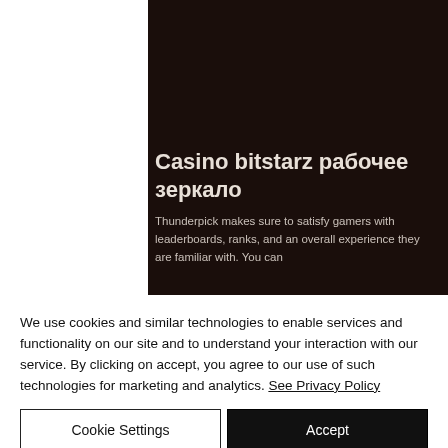[Figure (screenshot): Dark brown background panel showing a webpage header with Russian title 'Casino bitstarz рабочее зеркало' and partial body text about Thunderpick leaderboards.]
Casino bitstarz рабочее зеркало
Thunderpick makes sure to satisfy gamers with leaderboards, ranks, and an overall experience they are familiar with. You can
We use cookies and similar technologies to enable services and functionality on our site and to understand your interaction with our service. By clicking on accept, you agree to our use of such technologies for marketing and analytics. See Privacy Policy
Cookie Settings
Accept